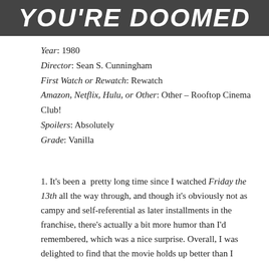[Figure (photo): Movie banner image with bold italic white text reading 'YOU'RE DOOMED' on a dark/grey background]
Year: 1980
Director: Sean S. Cunningham
First Watch or Rewatch: Rewatch
Amazon, Netflix, Hulu, or Other: Other – Rooftop Cinema Club!
Spoilers: Absolutely
Grade: Vanilla
1. It's been a  pretty long time since I watched Friday the 13th all the way through, and though it's obviously not as campy and self-referential as later installments in the franchise, there's actually a bit more humor than I'd remembered, which was a nice surprise. Overall, I was delighted to find that the movie holds up better than I